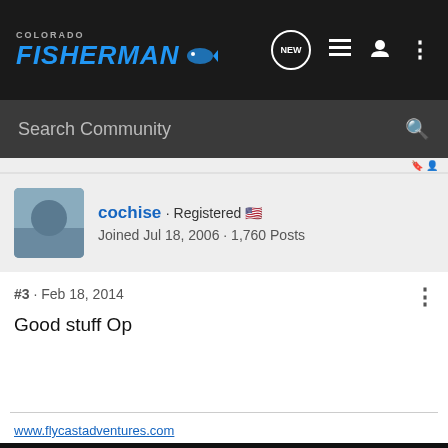COLORADO FISHERMAN
Search Community
cochise · Registered · Joined Jul 18, 2006 · 1,760 Posts
#3 · Feb 18, 2014
Good stuff Op
www.flycastadventures.com
[Figure (photo): Advertisement banner: OPTIC READY SLIMLINE, MOS, FIND A DEALER, Glock Perfection logo, gun image]